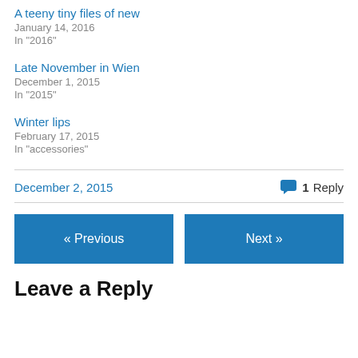A teeny tiny files of new
January 14, 2016
In "2016"
Late November in Wien
December 1, 2015
In "2015"
Winter lips
February 17, 2015
In "accessories"
December 2, 2015
1 Reply
« Previous
Next »
Leave a Reply